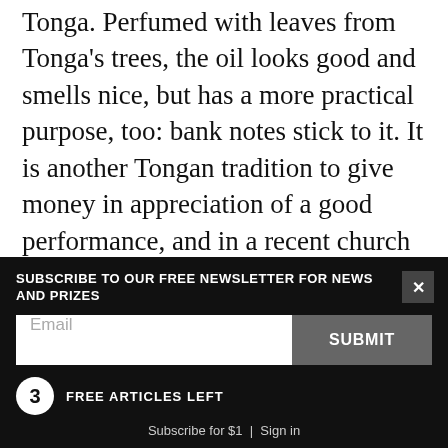Tonga. Perfumed with leaves from Tonga's trees, the oil looks good and smells nice, but has a more practical purpose, too: bank notes stick to it. It is another Tongan tradition to give money in appreciation of a good performance, and in a recent church charity concert Mere was almost literally clothed in notes—$2500 in all—from the admiring audience.
Thirty minutes before her item for St Mary's College, the attention Mere is receiving from her mother and aunt also helps to massage away stage jitters. With
[Figure (other): Newsletter subscription bar overlay with dark background. Contains text 'SUBSCRIBE TO OUR FREE NEWSLETTER FOR NEWS AND PRIZES', an email input field, a SUBMIT button, a close (X) button, a circle with '3' and 'FREE ARTICLES LEFT' label, and a partial 'Subscribe for $1 | Sign in' line at bottom.]